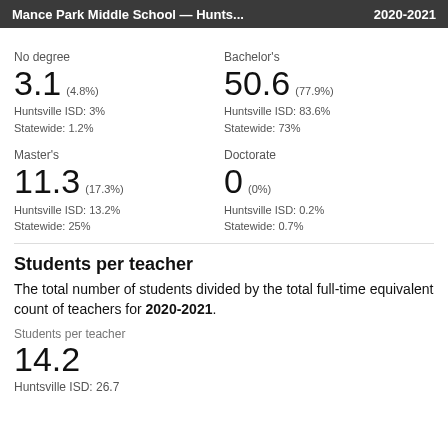Mance Park Middle School — Hunts... 2020-2021
These figures are expressed as a percentage of the total teacher full-time equivalent.
No degree
3.1 (4.8%)
Huntsville ISD: 3%
Statewide: 1.2%
Bachelor's
50.6 (77.9%)
Huntsville ISD: 83.6%
Statewide: 73%
Master's
11.3 (17.3%)
Huntsville ISD: 13.2%
Statewide: 25%
Doctorate
0 (0%)
Huntsville ISD: 0.2%
Statewide: 0.7%
Students per teacher
The total number of students divided by the total full-time equivalent count of teachers for 2020-2021.
Students per teacher
14.2
Huntsville ISD: 26.7